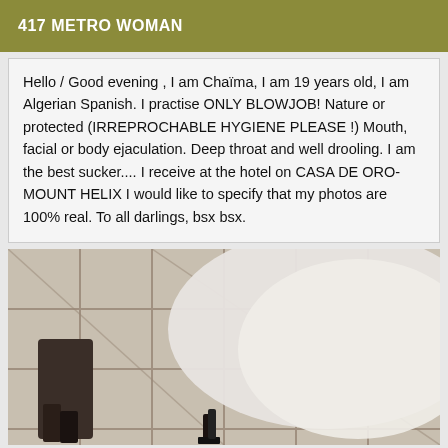417 METRO WOMAN
Hello / Good evening , I am Chaïma, I am 19 years old, I am Algerian Spanish. I practise ONLY BLOWJOB! Nature or protected (IRREPROCHABLE HYGIENE PLEASE !) Mouth, facial or body ejaculation. Deep throat and well drooling. I am the best sucker.... I receive at the hotel on CASA DE ORO-MOUNT HELIX I would like to specify that my photos are 100% real. To all darlings, bsx bsx.
[Figure (photo): A photo showing a person's lower body/legs on a tiled floor, wearing high heels.]